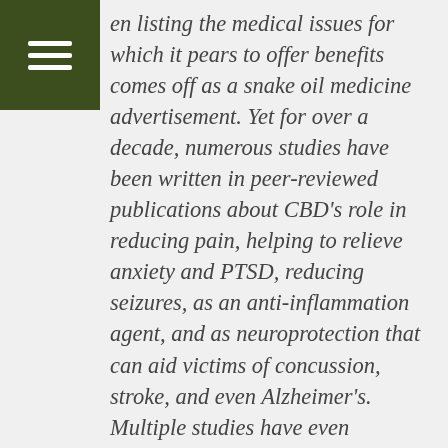en listing the medical issues for which it pears to offer benefits comes off as a snake oil medicine advertisement. Yet for over a decade, numerous studies have been written in peer-reviewed publications about CBD's role in reducing pain, helping to relieve anxiety and PTSD, reducing seizures, as an anti-inflammation agent, and as neuroprotection that can aid victims of concussion, stroke, and even Alzheimer's. Multiple studies have even confirmed that it reduces certain cancer cells. Big Pharma is rapidly developing CBD-based medication. Even the U.S. government holds a patent—number 6,630,507—on the use of non-psychoactive cannabinoids, such as CBD, to protect and